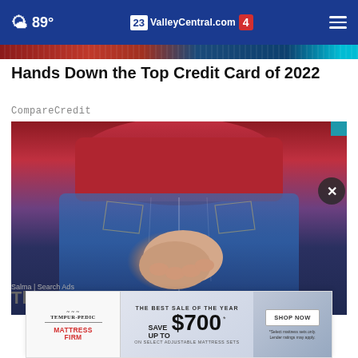89° ValleyCentral.com 23 4
[Figure (photo): Decorative banner strip at top of article, showing partial colored background.]
Hands Down the Top Credit Card of 2022
CompareCredit
[Figure (photo): Person wearing a red long-sleeve top and blue jeans, hands clasped together in front.]
The
Salma | Search Ads
[Figure (photo): Advertisement: Tempur-Pedic and Mattress Firm. THE BEST SALE OF THE YEAR. SAVE UP TO $700 ON SELECT ADJUSTABLE MATTRESS SETS. SHOP NOW. *Select mattress sets only. Lender ratings may apply.]